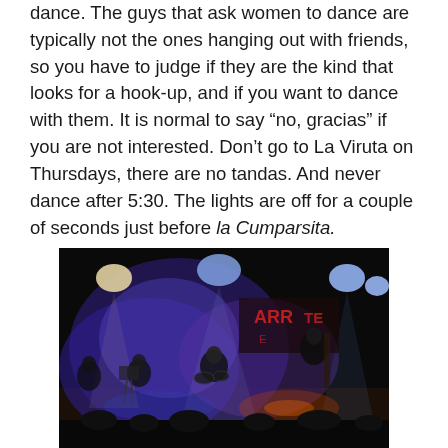dance. The guys that ask women to dance are typically not the ones hanging out with friends, so you have to judge if they are the kind that looks for a hook-up, and if you want to dance with them. It is normal to say “no, gracias” if you are not interested. Don’t go to La Viruta on Thursdays, there are no tandas. And never dance after 5:30. The lights are off for a couple of seconds just before la Cumparsita.
[Figure (photo): A dark concert/performance venue photo showing musicians on stage with blue and purple stage lighting, a drum kit, a bass player, and other performers. A sign in the background appears to read something in red letters. The scene is dimly lit with colored spotlights.]